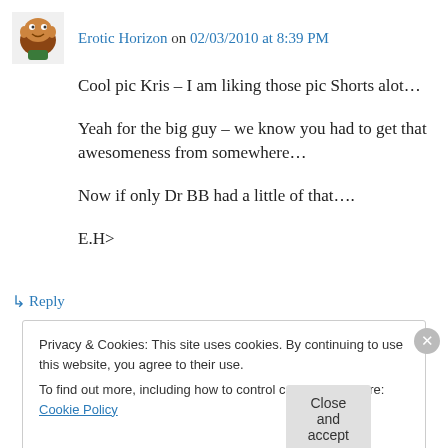Erotic Horizon on 02/03/2010 at 8:39 PM
Cool pic Kris – I am liking those pic Shorts alot…

Yeah for the big guy – we know you had to get that awesomeness from somewhere…

Now if only Dr BB had a little of that….

E.H>
↳ Reply
Privacy & Cookies: This site uses cookies. By continuing to use this website, you agree to their use.
To find out more, including how to control cookies, see here: Cookie Policy